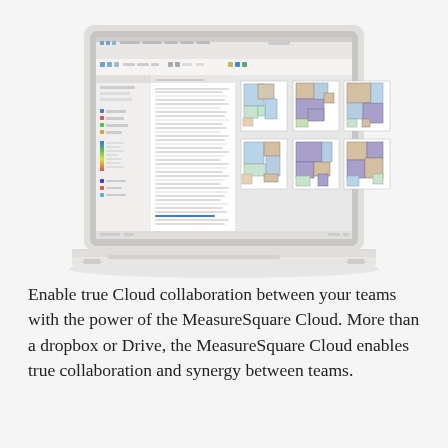[Figure (screenshot): A laptop computer mockup displaying a MeasureSquare software application screen with floor plan maps and layout panels on a light gray background.]
Enable true Cloud collaboration between your teams with the power of the MeasureSquare Cloud. More than a dropbox or Drive, the MeasureSquare Cloud enables true collaboration and synergy between teams.